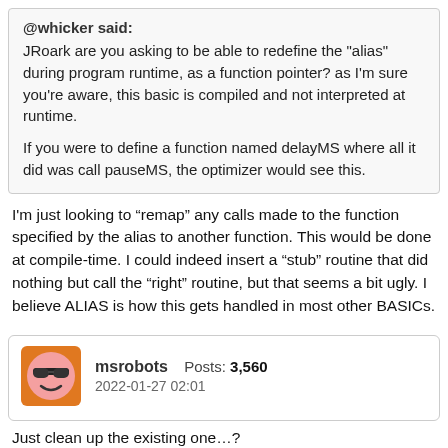@whicker said:
JRoark are you asking to be able to redefine the "alias" during program runtime, as a function pointer? as I'm sure you're aware, this basic is compiled and not interpreted at runtime.

If you were to define a function named delayMS where all it did was call pauseMS, the optimizer would see this.
I'm just looking to “remap” any calls made to the function specified by the alias to another function. This would be done at compile-time. I could indeed insert a “stub” routine that did nothing but call the “right” routine, but that seems a bit ugly. I believe ALIAS is how this gets handled in most other BASICs.
msrobots  Posts: 3,560
2022-01-27 02:01
Just clean up the existing one…?